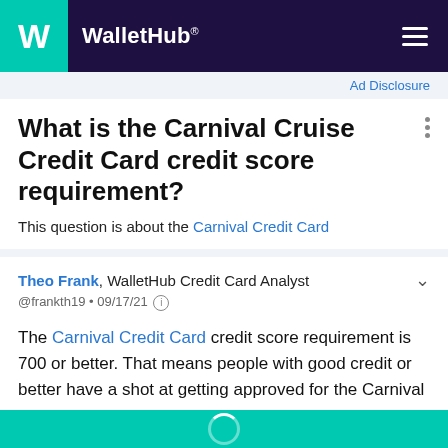WalletHub
Ad Disclosure
What is the Carnival Cruise Credit Card credit score requirement?
This question is about the Carnival Credit Card
Theo Frank, WalletHub Credit Card Analyst
@frankth19 • 09/17/21
The Carnival Credit Card credit score requirement is 700 or better. That means people with good credit or better have a shot at getting approved for the Carnival Credit Card.